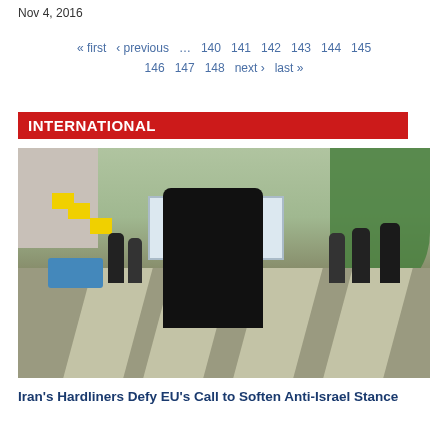Nov 4, 2016
« first  ‹ previous  …  140  141  142  143  144  145  146  147  148  next ›  last »
INTERNATIONAL
[Figure (photo): Protest march in street; person in black hijab holding sign reading 'DOWN WITH ISRAEL' in blue and white, with Farsi and Arabic text. Yellow flags and blue truck visible on left, trees on right.]
Iran's Hardliners Defy EU's Call to Soften Anti-Israel Stance